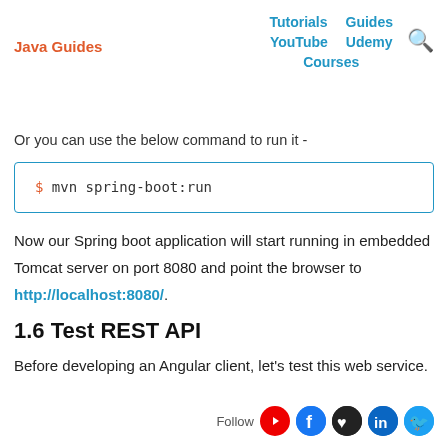Java Guides | Tutorials | Guides | YouTube | Udemy | Courses
Or you can use the below command to run it -
Now our Spring boot application will start running in embedded Tomcat server on port 8080 and point the browser to http://localhost:8080/.
1.6 Test REST API
Before developing an Angular client, let's test this web service.